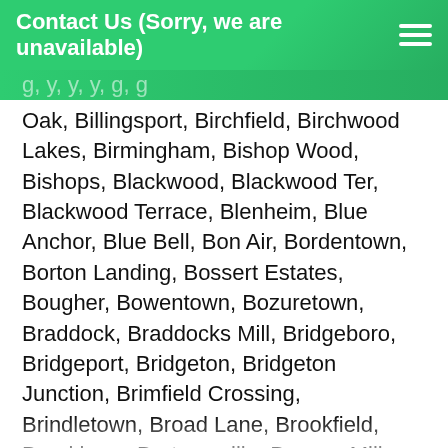Contact Us (Sorry, we are unavailable)
Oak, Billingsport, Birchfield, Birchwood Lakes, Birmingham, Bishop Wood, Bishops, Blackwood, Blackwood Ter, Blackwood Terrace, Blenheim, Blue Anchor, Blue Bell, Bon Air, Bordentown, Borton Landing, Bossert Estates, Bougher, Bowentown, Bozuretown, Braddock, Braddocks Mill, Bridgeboro, Bridgeport, Bridgeton, Bridgeton Junction, Brimfield Crossing, Brindletown, Broad Lane, Brookfield, Brooklawn, Brotmanville, Browns Mills, Browns Mills Junction, Brownsville, Buckingham Park, Buckingham Village, Buddtown, Buena, Burlington, Burrs Mill, Bustleton, Cambridge, Camden, Campbells Corner, Candlwyck,